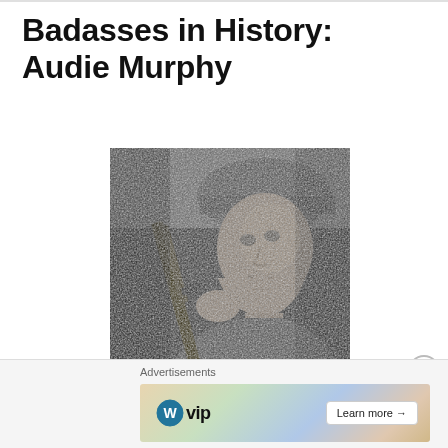Badasses in History: Audie Murphy
[Figure (photo): Black and white photograph of Audie Murphy in military helmet holding a rifle, looking to the right with intensity.]
Advertisements
[Figure (screenshot): WordPress VIP advertisement banner with logos including WordPress, Facebook, and a Learn more arrow button, set against a colorful geometric background.]